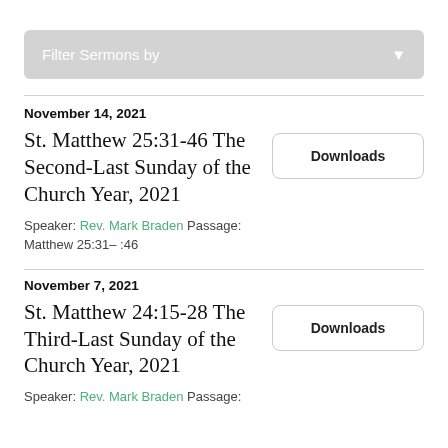Filter Sermons by
November 14, 2021
St. Matthew 25:31-46 The Second-Last Sunday of the Church Year, 2021
Speaker: Rev. Mark Braden Passage: Matthew 25:31– :46
Downloads
November 7, 2021
St. Matthew 24:15-28 The Third-Last Sunday of the Church Year, 2021
Speaker: Rev. Mark Braden Passage:
Downloads